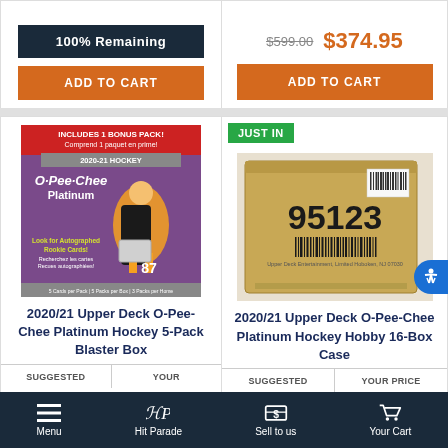100% Remaining
ADD TO CART
$599.00  $374.95
ADD TO CART
JUST IN
[Figure (photo): 2020/21 Upper Deck O-Pee-Chee Platinum Hockey 5-Pack Blaster Box product image]
2020/21 Upper Deck O-Pee-Chee Platinum Hockey 5-Pack Blaster Box
SUGGESTED   YOUR
[Figure (photo): 2020/21 Upper Deck O-Pee-Chee Platinum Hockey Hobby 16-Box Case product image showing a brown cardboard box with barcode 95123]
2020/21 Upper Deck O-Pee-Chee Platinum Hockey Hobby 16-Box Case
SUGGESTED   YOUR PRICE
Menu   Hit Parade   Sell to us   Your Cart